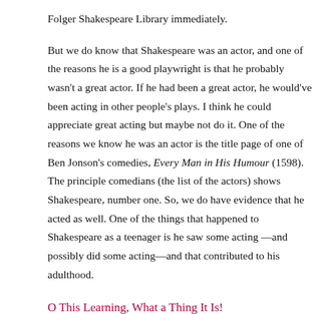Folger Shakespeare Library immediately.
But we do know that Shakespeare was an actor, and one of the reasons he is a good playwright is that he probably wasn't a great actor. If he had been a great actor, he would've been acting in other people's plays. I think he could appreciate great acting but maybe not do it. One of the reasons we know he was an actor is the title page of one of Ben Jonson's comedies, Every Man in His Humour (1598). The principle comedians (the list of the actors) shows Shakespeare, number one. So, we do have evidence that he acted as well. One of the things that happened to Shakespeare as a teenager is he saw some acting —and possibly did some acting—and that contributed to his adulthood.
O This Learning, What a Thing It Is!
A question that often comes up is: how much education did Shakespeare have? In Shakespeare's time, the dame school, or petty school, was for four- and five-year-olds, and that is where they learned to read and possibly to cipher. They may not have learned to write, though. Shakespeare's own father could not write his name, but, when he needed to sign a document, he would draw a geometry compass, which was a tool of his trade—that was his mark. S